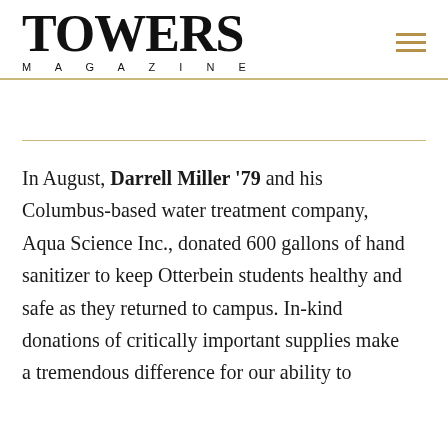TOWERS MAGAZINE
In August, Darrell Miller '79 and his Columbus-based water treatment company, Aqua Science Inc., donated 600 gallons of hand sanitizer to keep Otterbein students healthy and safe as they returned to campus. In-kind donations of critically important supplies make a tremendous difference for our ability to